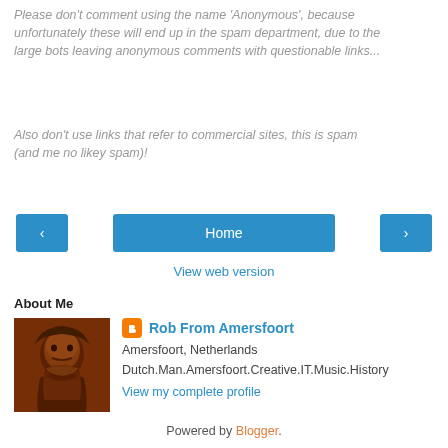Please don't comment using the name 'Anonymous', because unfortunately these will end up in the spam department, due to the large bots leaving anonymous comments with questionable links...
Also don't use links that refer to commercial sites, this is spam (and me no likey spam)!
[Figure (infographic): Navigation row with left arrow button, Home button, and right arrow button in blue]
View web version
About Me
[Figure (photo): Profile photo of Rob From Amersfoort, a man with long dark hair and beard shown in orange-brown tones]
Rob From Amersfoort
Amersfoort, Netherlands
Dutch.Man.Amersfoort.Creative.IT.Music.History
View my complete profile
Powered by Blogger.